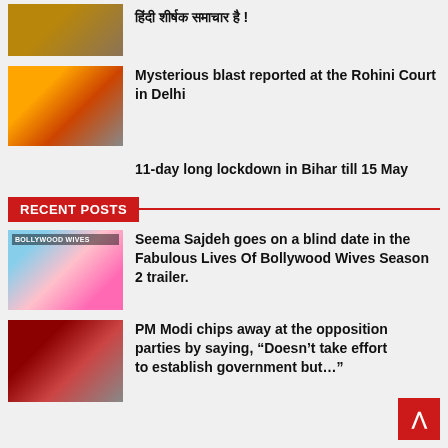[Figure (photo): Person in yellow clothing near a building]
हिंदी शीर्षक समाचार है !
[Figure (photo): Crowd scene outside Rohini Court in Delhi]
Mysterious blast reported at the Rohini Court in Delhi
11-day long lockdown in Bihar till 15 May
RECENT POSTS
[Figure (photo): Bollywood Wives show poster with four women]
Seema Sajdeh goes on a blind date in the Fabulous Lives Of Bollywood Wives Season 2 trailer.
[Figure (photo): PM Modi speaking at a podium]
PM Modi chips away at the opposition parties by saying, “Doesn’t take effort to establish government but…”